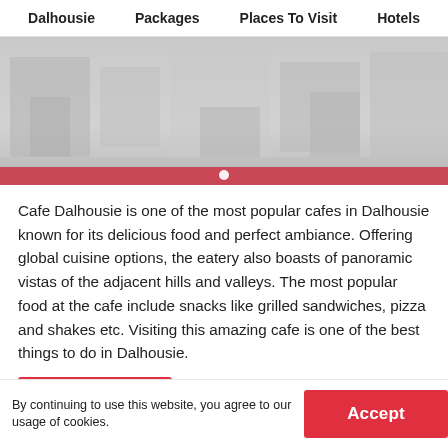Dalhousie   Packages   Places To Visit   Hotels
[Figure (photo): Interior of a cafe with blurred/faded appearance, showing furniture and shelving. A white dot indicator is centered near the bottom of the image.]
Cafe Dalhousie is one of the most popular cafes in Dalhousie known for its delicious food and perfect ambiance. Offering global cuisine options, the eatery also boasts of panoramic vistas of the adjacent hills and valleys. The most popular food at the cafe include snacks like grilled sandwiches, pizza and shakes etc. Visiting this amazing cafe is one of the best things to do in Dalhousie.
Read More
By continuing to use this website, you agree to our usage of cookies.
Accept